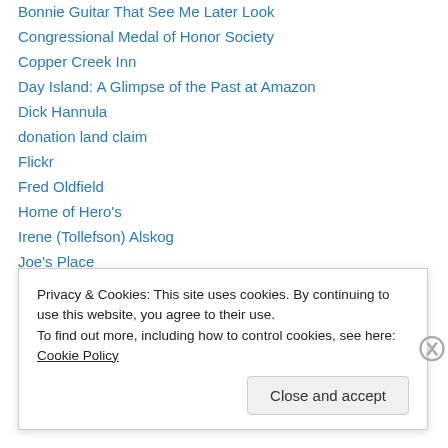Bonnie Guitar That See Me Later Look
Congressional Medal of Honor Society
Copper Creek Inn
Day Island: A Glimpse of the Past at Amazon
Dick Hannula
donation land claim
Flickr
Fred Oldfield
Home of Hero's
Irene (Tollefson) Alskog
Joe's Place
Lydiafairy flickr photostream
Metropolitan Parks Dept.
Privacy & Cookies: This site uses cookies. By continuing to use this website, you agree to their use. To find out more, including how to control cookies, see here: Cookie Policy
Close and accept